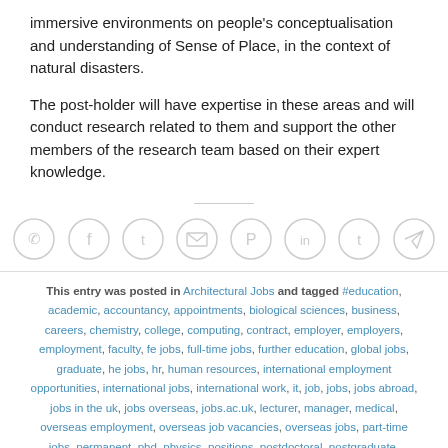immersive environments on people's conceptualisation and understanding of Sense of Place, in the context of natural disasters.
The post-holder will have expertise in these areas and will conduct research related to them and support the other members of the research team based on their expert knowledge.
[Figure (other): Social sharing icons: WhatsApp, Facebook, Twitter, Email, Pinterest, LinkedIn, Tumblr, Telegram]
This entry was posted in Architectural Jobs and tagged #education, academic, accountancy, appointments, biological sciences, business, careers, chemistry, college, computing, contract, employer, employers, employment, faculty, fe jobs, full-time jobs, further education, global jobs, graduate, he jobs, hr, human resources, international employment opportunities, international jobs, international work, it, job, jobs, jobs abroad, jobs in the uk, jobs overseas, jobs.ac.uk, lecturer, manager, medical, overseas employment, overseas job vacancies, overseas jobs, part-time jobs, permanent, phd, physics, positions, postdoctoral, postgraduate, professor, recruitment, Research, researcher, sales, School, school jobs, school teacher, science, situation, studentships, teaching, uk, united kingdom, university,